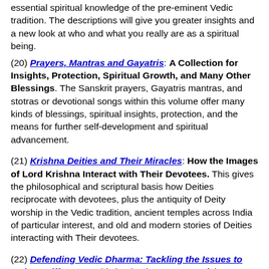essential spiritual knowledge of the pre-eminent Vedic tradition. The descriptions will give you greater insights and a new look at who and what you really are as a spiritual being.
(20) Prayers, Mantras and Gayatris: A Collection for Insights, Protection, Spiritual Growth, and Many Other Blessings. The Sanskrit prayers, Gayatris mantras, and stotras or devotional songs within this volume offer many kinds of blessings, spiritual insights, protection, and the means for further self-development and spiritual advancement.
(21) Krishna Deities and Their Miracles: How the Images of Lord Krishna Interact with Their Devotees. This gives the philosophical and scriptural basis how Deities reciprocate with devotees, plus the antiquity of Deity worship in the Vedic tradition, ancient temples across India of particular interest, and old and modern stories of Deities interacting with Their devotees.
(22) Defending Vedic Dharma: Tackling the Issues to Make a Difference: This book takes on some of the most topical issues at present that many do not properly understand about Vedic culture, and explains and resolves